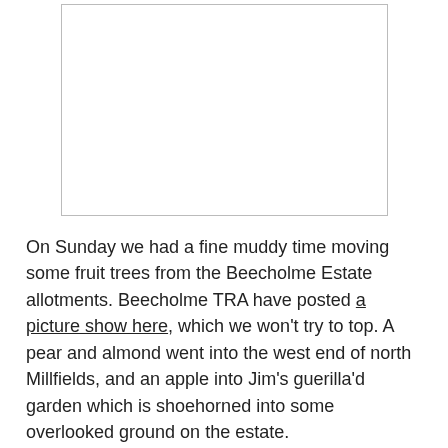[Figure (photo): A blank white rectangular image placeholder with a light grey border, centered on the page.]
On Sunday we had a fine muddy time moving some fruit trees from the Beecholme Estate allotments. Beecholme TRA have posted a picture show here, which we won't try to top. A pear and almond went into the west end of north Millfields, and an apple into Jim's guerilla'd garden which is shoehorned into some overlooked ground on the estate.
Thanks to Christine Williamson of the TRA for offering the trees, and to the squad who turned out: Tom, Flora, Annie, Chris, Karen